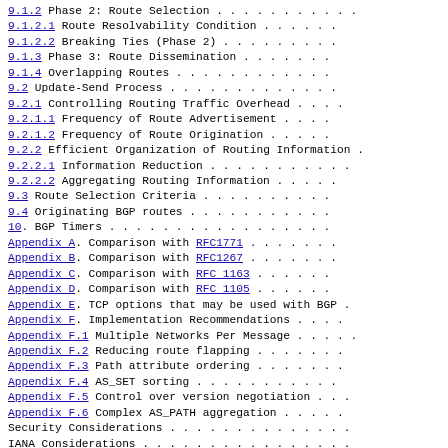9.1.2 Phase 2: Route Selection
9.1.2.1 Route Resolvability Condition
9.1.2.2 Breaking Ties (Phase 2)
9.1.3 Phase 3: Route Dissemination
9.1.4 Overlapping Routes
9.2 Update-Send Process
9.2.1 Controlling Routing Traffic Overhead
9.2.1.1 Frequency of Route Advertisement
9.2.1.2 Frequency of Route Origination
9.2.2 Efficient Organization of Routing Information
9.2.2.1 Information Reduction
9.2.2.2 Aggregating Routing Information
9.3 Route Selection Criteria
9.4 Originating BGP routes
10. BGP Timers
Appendix A. Comparison with RFC1771
Appendix B. Comparison with RFC1267
Appendix C. Comparison with RFC 1163
Appendix D. Comparison with RFC 1105
Appendix E. TCP options that may be used with BGP
Appendix F. Implementation Recommendations
Appendix F.1 Multiple Networks Per Message
Appendix F.2 Reducing route flapping
Appendix F.3 Path attribute ordering
Appendix F.4 AS_SET sorting
Appendix F.5 Control over version negotiation
Appendix F.6 Complex AS_PATH aggregation
Security Considerations
IANA Considerations
References